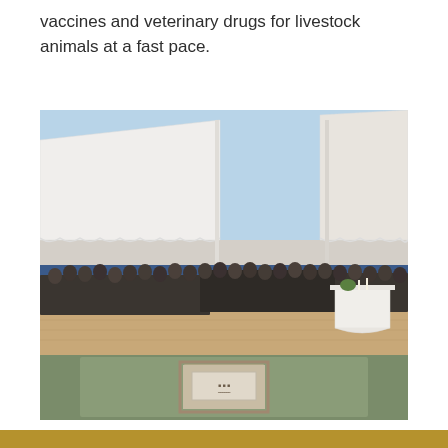vaccines and veterinary drugs for livestock animals at a fast pace.
[Figure (photo): A large outdoor gathering of people standing under white event tents on a wooden deck, with a grass area in the foreground containing a small framed display or cornerstone on the ground. A draped table is visible to the right side of the crowd.]